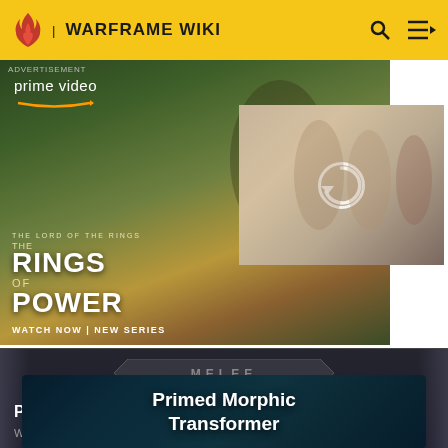WARFRAME WIKI
[Figure (screenshot): Advertisement for Amazon Prime Video's 'The Lord of the Rings: The Rings of Power' with 'WATCH NOW | NEW SERIES' tagline. Shows two characters from the show on the left and a group of characters on the right panel with a reload icon.]
[Figure (screenshot): Warframe game UI card showing 'MELEE' category badge with title 'Primed Fever Strike' and subtitle 'WARFRAME Wiki']
[Figure (screenshot): Warframe game UI card with teal/dark background showing 'Primed Morphic Transformer' text in large white bold font]